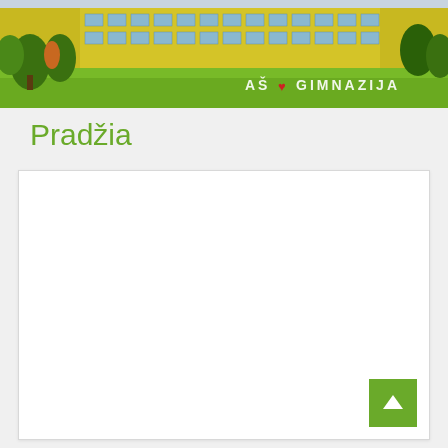[Figure (photo): Header photo of a yellow school building (gymnasium) with green lawn, trees, and a sign reading 'AŠ GIMNAZIJA' in white letters with a red heart symbol]
Pradžia
[Figure (other): Large white content area/box, mostly empty, with a green back-to-top arrow button in the bottom right corner]